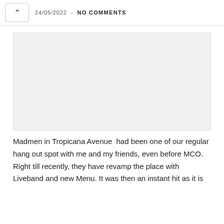24/05/2022 - NO COMMENTS
[Figure (photo): Placeholder image area (light gray rectangle), likely a photo of Madmen in Tropicana Avenue restaurant]
Madmen in Tropicana Avenue had been one of our regular hang out spot with me and my friends, even before MCO. Right till recently, they have revamp the place with Liveband and new Menu. It was then an instant hit as it is